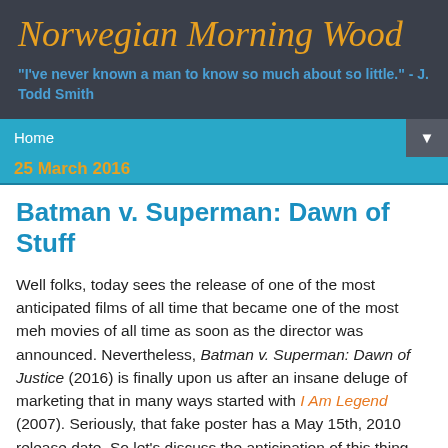Norwegian Morning Wood
"I've never known a man to know so much about so little." - J. Todd Smith
Home   25 March 2016
Batman v. Superman: Dawn of Stuff
Well folks, today sees the release of one of the most anticipated films of all time that became one of the most meh movies of all time as soon as the director was announced. Nevertheless, Batman v. Superman: Dawn of Justice (2016) is finally upon us after an insane deluge of marketing that in many ways started with I Am Legend (2007). Seriously, that fake poster has a May 15th, 2010 release date. So let's discuss the anticipation of this thing along with its commercial, critical, and cultural prospects: